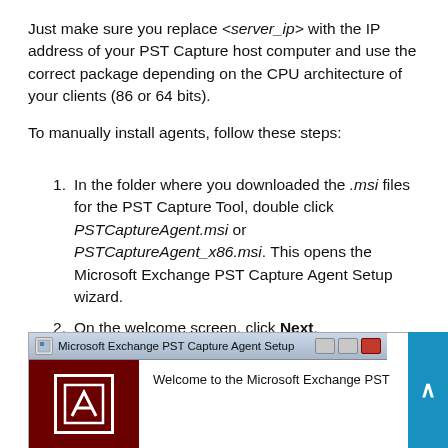Just make sure you replace <server_ip> with the IP address of your PST Capture host computer and use the correct package depending on the CPU architecture of your clients (86 or 64 bits).
To manually install agents, follow these steps:
In the folder where you downloaded the .msi files for the PST Capture Tool, double click PSTCaptureAgent.msi or PSTCaptureAgent_x86.msi. This opens the Microsoft Exchange PST Capture Agent Setup wizard.
On the welcome screen, click Next.
[Figure (screenshot): Screenshot of Microsoft Exchange PST Capture Agent Setup wizard window, showing titlebar with window controls, dark red left panel with logo, and welcome text on right]